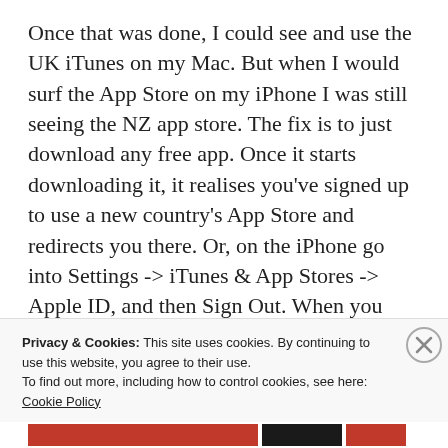Once that was done, I could see and use the UK iTunes on my Mac. But when I would surf the App Store on my iPhone I was still seeing the NZ app store. The fix is to just download any free app. Once it starts downloading it, it realises you've signed up to use a new country's App Store and redirects you there. Or, on the iPhone go into Settings -> iTunes & App Stores -> Apple ID, and then Sign Out. When you Sign in again you'll be redirected to the new country's App Store.
Privacy & Cookies: This site uses cookies. By continuing to use this website, you agree to their use.
To find out more, including how to control cookies, see here: Cookie Policy